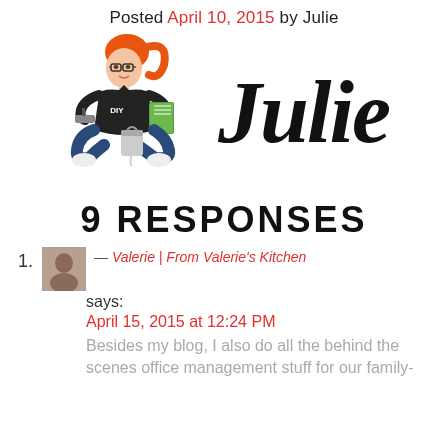Posted April 10, 2015 by Julie
[Figure (illustration): DIY blogger illustration: woman with red ponytail hair, glasses, wearing black DIY shirt, sitting cross-legged holding a book and paint roller, with a paint can, next to large cursive 'Julie' text logo]
9 RESPONSES
1. — Valerie | From Valerie's Kitchen says: April 15, 2015 at 12:24 PM Besides my blog, I also do all the behind the scenes office management stuff for our family-